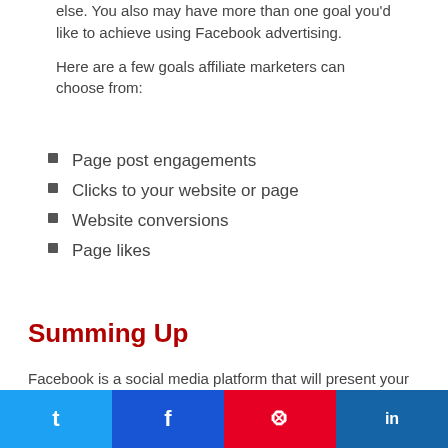else. You also may have more than one goal you'd like to achieve using Facebook advertising.
Here are a few goals affiliate marketers can choose from:
Page post engagements
Clicks to your website or page
Website conversions
Page likes
Summing Up
Facebook is a social media platform that will present your content and with the right strategies can get you some great results. The biggest problem is that you
Twitter | Facebook | Pinterest | LinkedIn